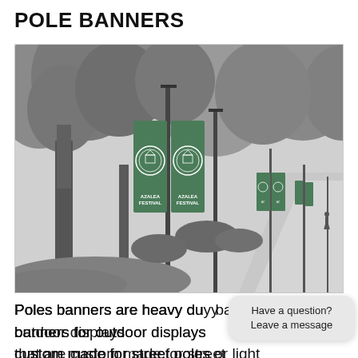POLE BANNERS
[Figure (photo): Black and white photograph of a tree-lined street with green pole banners reading 'AZALEA FESTIVAL' attached to lamp posts receding into the distance, with a pedestrian visible in the background.]
Poles banners are heavy duty banners for outdoor displays that are custom made for street poles or light
Have a question? Leave a message